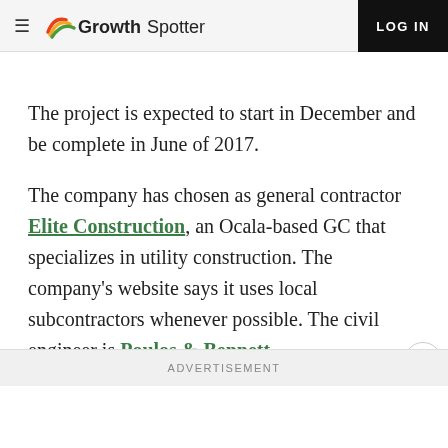GrowthSpotter — LOG IN
The project is expected to start in December and be complete in June of 2017.
The company has chosen as general contractor Elite Construction, an Ocala-based GC that specializes in utility construction. The company's website says it uses local subcontractors whenever possible. The civil engineer is Poulos & Bennett.
ADVERTISEMENT